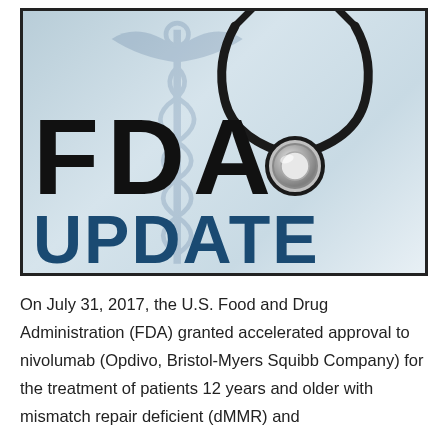[Figure (illustration): FDA Update banner image with a stethoscope on a light blue gradient background with a faint caduceus watermark. Large bold black text reads 'FDA' and below it in dark blue bold text reads 'UPDATE'.]
On July 31, 2017, the U.S. Food and Drug Administration (FDA) granted accelerated approval to nivolumab (Opdivo, Bristol-Myers Squibb Company) for the treatment of patients 12 years and older with mismatch repair deficient (dMMR) and...